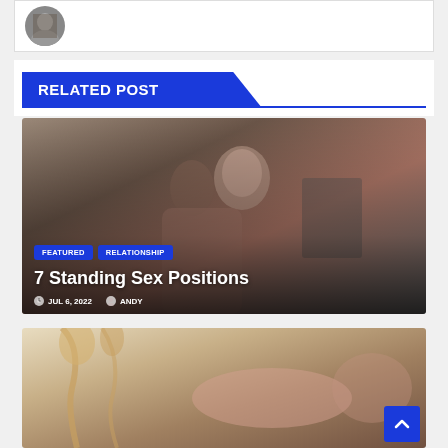[Figure (photo): Partial top card with circular avatar/profile photo on white background]
RELATED POST
[Figure (photo): Couple in intimate embrace - man and woman in lingerie, used as background for article card]
FEATURED   RELATIONSHIP
7 Standing Sex Positions
JUL 6, 2022   ANDY
[Figure (photo): Partially visible second article image showing woman on ornate bed frame]